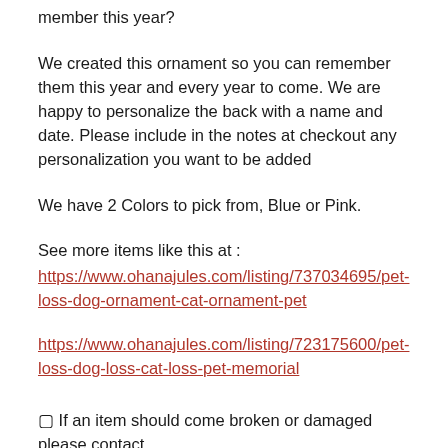member this year?
We created this ornament so you can remember them this year and every year to come. We are happy to personalize the back with a name and date. Please include in the notes at checkout any personalization you want to be added
We have 2 Colors to pick from, Blue or Pink.
See more items like this at :
https://www.ohanajules.com/listing/737034695/pet-loss-dog-ornament-cat-ornament-pet
https://www.ohanajules.com/listing/723175600/pet-loss-dog-loss-cat-loss-pet-memorial
▢ If an item should come broken or damaged please contact